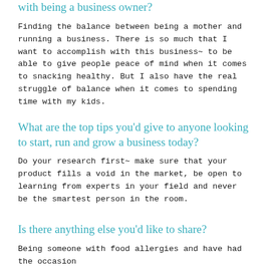with being a business owner?
Finding the balance between being a mother and running a business. There is so much that I want to accomplish with this business~ to be able to give people peace of mind when it comes to snacking healthy. But I also have the real struggle of balance when it comes to spending time with my kids.
What are the top tips you'd give to anyone looking to start, run and grow a business today?
Do your research first~ make sure that your product fills a void in the market, be open to learning from experts in your field and never be the smartest person in the room.
Is there anything else you'd like to share?
Being someone with food allergies and have had the occasion